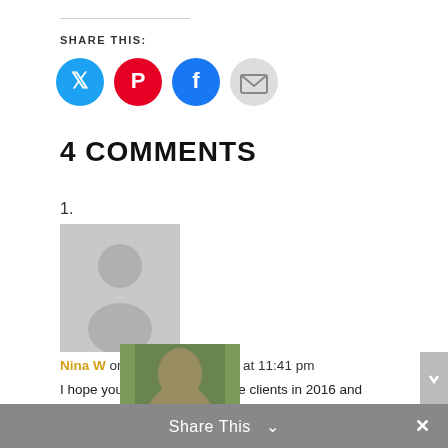SHARE THIS:
[Figure (infographic): Four social sharing icon circles: Twitter (blue), Pinterest (red), Facebook (blue), Email (gray)]
4 COMMENTS
1.
[Figure (photo): Gray placeholder avatar silhouette]
Nina W on November 5, 2015 at 11:41 pm
I hope you’re able to gain more clients in 2016 and market yourself better and grow your business!!!! Just keep it real and still blog about real life pls 😊 **I get sad when bloggers get “big” and stop talking about real life; everything is a sales pitch. just, no.
[Figure (photo): Photo of a woman with dark hair outdoors]
Share This ∨ ×